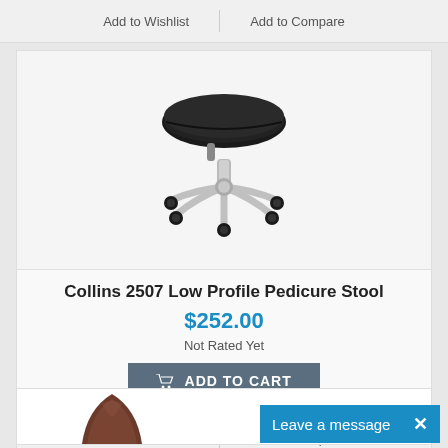Add to Wishlist
Add to Compare
[Figure (photo): Collins 2507 Low Profile Pedicure Stool with black seat, chrome 5-star base, and caster wheels]
Collins 2507 Low Profile Pedicure Stool
$252.00
Not Rated Yet
ADD TO CART
Add to Wishlist
Add to Compare
[Figure (photo): Partial view of a brown leather chair, bottom of page]
Leave a message